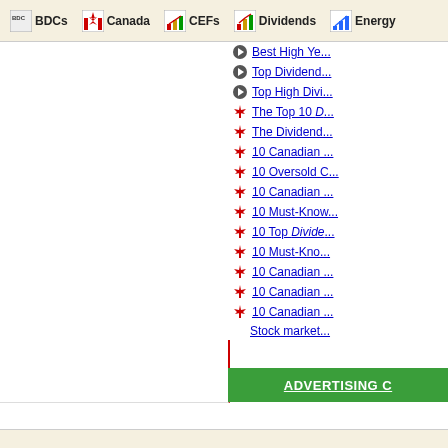BDCs | Canada | CEFs | Dividends | Energy
Best High Ye...
Top Dividend...
Top High Divi...
The Top 10 D...
The Dividend...
10 Canadian ...
10 Oversold C...
10 Canadian ...
10 Must-Know...
10 Top Divide...
10 Must-Know...
10 Canadian ...
10 Canadian ...
10 Canadian ...
Stock market...
[Figure (other): Green advertising banner with text ADVERTISING C...]